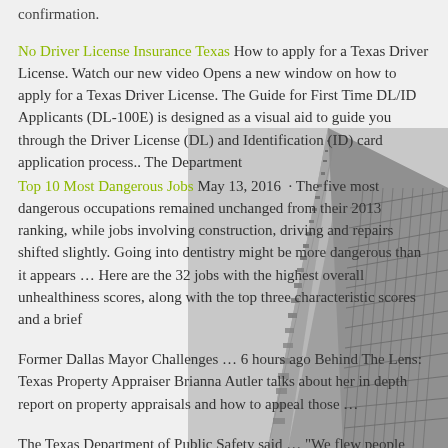confirmation.
No Driver License Insurance Texas How to apply for a Texas Driver License. Watch our new video Opens a new window on how to apply for a Texas Driver License. The Guide for First Time DL/ID Applicants (DL-100E) is designed as a visual aid to guide you through the Driver License (DL) and Identification (ID) card application process.. The Department
Top 10 Most Dangerous Jobs May 13, 2016 · The five most dangerous occupations remained unchanged from their 2013 ranking, while jobs involving construction, driving and repairs shifted slightly. Going into dentistry might be more dangerous than it appears … Here are the 32 jobs with the highest overall unhealthiness scores, along with the top three characteristic scores and a brief
Former Dallas Mayor Challenges … 6 hours ago Behind The Lens: Texas Property Appraiser Brianna Autler talks about her in depth report on property appraisals and how to appeal those …
The Texas Department of Public Safety said … "We flew people from all over the country to Dallas and Houston for medical
[Figure (photo): Black and white photograph of a tall glass skyscraper building shot from below looking upward, showing angular geometric facade with repeating window patterns against a light sky.]